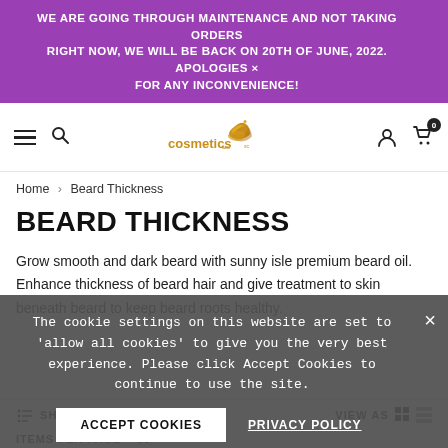WE ARE GOING THROUGH MAINTENANCE AND NOT TAKING ORDERS RIGHT NOW, WE WILL BE BACK ON 20TH OF JUNE, 2022. APOLOGIES FOR ANY INCONVENIENCE!
[Figure (logo): Web Cosmetics logo with golden leaf/flower motif]
Home > Beard Thickness
BEARD THICKNESS
Grow smooth and dark beard with sunny isle premium beard oil. Enhance thickness of beard hair and give treatment to skin beneath beard to keep beard roots healthy.
The cookie settings on this website are set to 'allow all cookies' to give you the very best experience. Please click Accept Cookies to continue to use the site.
SHOP BY
VIEW AS
ITEMS PER PAGE    50